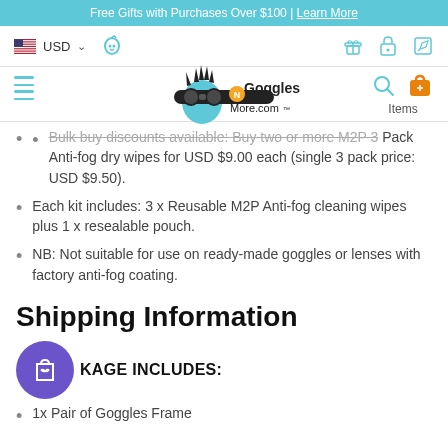Free Gifts with Purchases Over $100 | Learn More
[Figure (screenshot): Navigation bar with USD currency selector, phone icon, gift icon, lock icon, and edit icon]
[Figure (logo): GogglesNMore.com logo with character and goggles, search icon, shopping bag icon, Items label]
Bulk buy discounts available: Buy two or more M2P 3 Pack Anti-fog dry wipes for USD $9.00 each (single 3 pack price: USD $9.50).
Each kit includes: 3 x Reusable M2P Anti-fog cleaning wipes plus 1 x resealable pouch.
NB: Not suitable for use on ready-made goggles or lenses with factory anti-fog coating.
Shipping Information
[Figure (illustration): Purple circle icon with shopping bag and heart symbol]
KAGE INCLUDES:
1x Pair of Goggles Frame